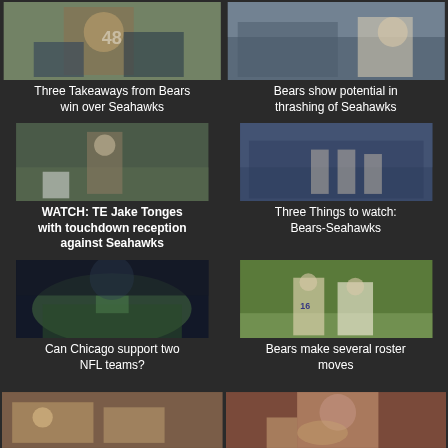[Figure (photo): Bears player #48 running with football against Seahawks player]
Three Takeaways from Bears win over Seahawks
[Figure (photo): Seahawks quarterback being pressured by Bears defense]
Bears show potential in thrashing of Seahawks
[Figure (photo): TE Jake Tonges making touchdown reception against Seahawks with referee in background]
WATCH: TE Jake Tonges with touchdown reception against Seahawks
[Figure (photo): Bears and Seahawks players and fans celebrating in stands]
Three Things to watch: Bears-Seahawks
[Figure (photo): NFL stadium aerial view at night with field lit up and crowds]
Can Chicago support two NFL teams?
[Figure (photo): Two Bears players #16 kneeling on football field]
Bears make several roster moves
[Figure (photo): Bears fans and players on sideline]
[Figure (photo): Bears quarterback holding football close-up]